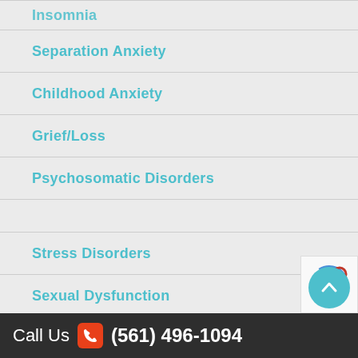Insomnia
Separation Anxiety
Childhood Anxiety
Grief/Loss
Psychosomatic Disorders
Stress Disorders
Sexual Dysfunction
Substance Abuse/Alcohol Abuse
ADD/ADHD
Eating Disorders
Call Us (561) 496-1094